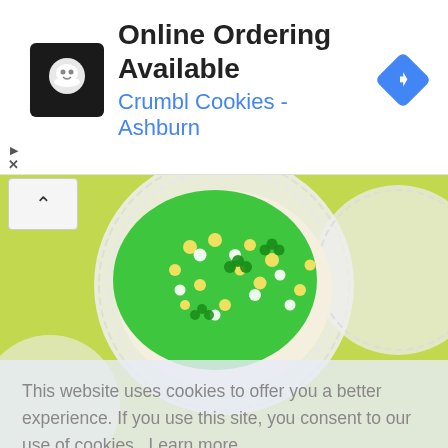[Figure (infographic): Advertisement banner for Crumbl Cookies - Ashburn with logo, text 'Online Ordering Available', subtitle 'Crumbl Cookies - Ashburn', and a Google Maps navigation icon]
[Figure (photo): Photo of a green frosted cookie with yellow, white, and green sprinkles shaped like shamrocks, placed on a white paper doily on a green background]
This website uses cookies to offer you a better experience. If you use this site, you consent to our use of cookies.  Learn more
I Agree